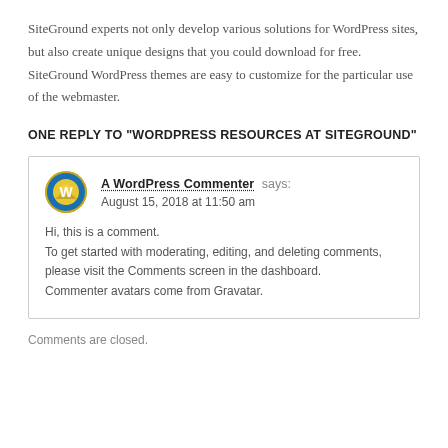SiteGround experts not only develop various solutions for WordPress sites, but also create unique designs that you could download for free. SiteGround WordPress themes are easy to customize for the particular use of the webmaster.
ONE REPLY TO “WORDPRESS RESOURCES AT SITEGROUND”
A WordPress Commenter says:
August 15, 2018 at 11:50 am
Hi, this is a comment.
To get started with moderating, editing, and deleting comments, please visit the Comments screen in the dashboard.
Commenter avatars come from Gravatar.
Comments are closed.